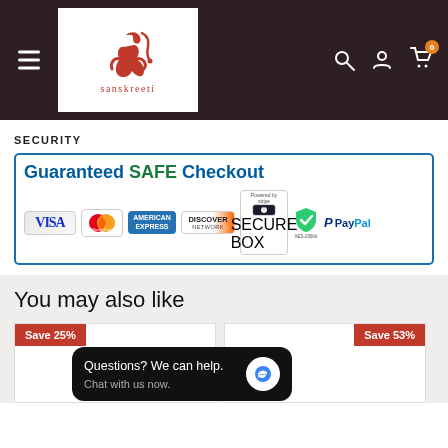[Figure (logo): Sanskreeti logo with red dancing figure and brand name in red serif font on white background]
SECURITY
[Figure (infographic): Guaranteed SAFE Checkout banner with payment method logos: VISA, MasterCard, American Express, Discover Network, Stripe, SSL secure, PayPal]
You may also like
[Figure (infographic): Two product cards with Save 25% and Save 53% badges]
Questions? We can help. Chat with us now.